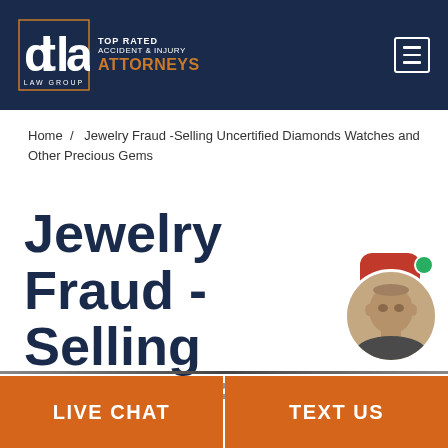[Figure (logo): DTLA Law Group logo with text: TOP RATED ACCIDENT & INJURY ATTORNEYS]
Home / Jewelry Fraud -Selling Uncertified Diamonds Watches and Other Precious Gems
Jewelry Fraud -Selling Uncertified Diamonds Watches and Other Precious Gems
[Figure (photo): Live chat widget with red speech bubble with dots and avatar photo of a bald man]
LIVE CHAT
TEXT US